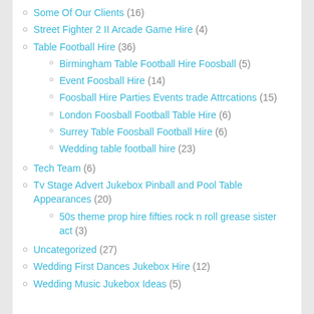Some Of Our Clients (16)
Street Fighter 2 II Arcade Game Hire (4)
Table Football Hire (36)
Birmingham Table Football Hire Foosball (5)
Event Foosball Hire (14)
Foosball Hire Parties Events trade Attrcations (15)
London Foosball Football Table Hire (6)
Surrey Table Foosball Football Hire (6)
Wedding table football hire (23)
Tech Team (6)
Tv Stage Advert Jukebox Pinball and Pool Table Appearances (20)
50s theme prop hire fifties rock n roll grease sister act (3)
Uncategorized (27)
Wedding First Dances Jukebox Hire (12)
Wedding Music Jukebox Ideas (5)